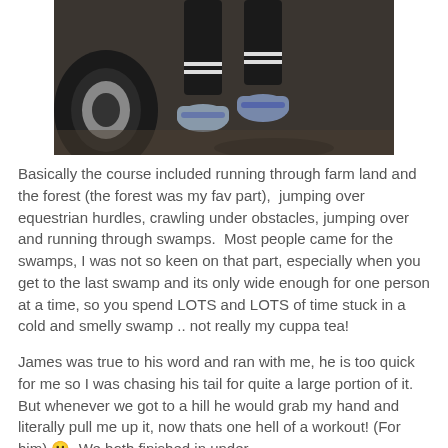[Figure (photo): Close-up photo of a runner's legs and feet wearing black compression socks and grey/blue running shoes, standing on a dark surface near a car wheel. Shadow visible on the ground.]
Basically the course included running through farm land and the forest (the forest was my fav part),  jumping over equestrian hurdles, crawling under obstacles, jumping over and running through swamps.  Most people came for the swamps, I was not so keen on that part, especially when you get to the last swamp and its only wide enough for one person at a time, so you spend LOTS and LOTS of time stuck in a cold and smelly swamp .. not really my cuppa tea!
James was true to his word and ran with me, he is too quick for me so I was chasing his tail for quite a large portion of it.  But whenever we got to a hill he would grab my hand and literally pull me up it, now thats one hell of a workout! (For him) 🙂 We both finished in under